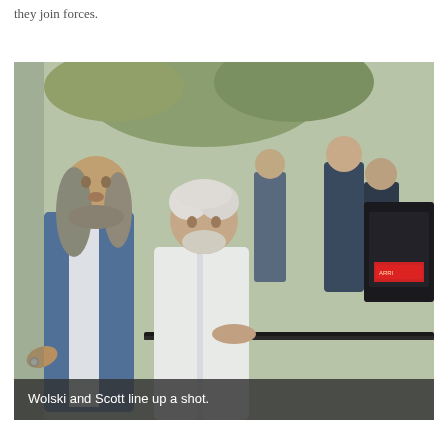they join forces.
[Figure (photo): Behind-the-scenes photograph of two men on a film set. On the left, a man with long grey-streaked hair in a denim jacket points with his left hand. In the center, an older man with white hair and beard in a white linen shirt looks down at a camera rig/rail. Several crew members and large film camera equipment visible in the background, with trees and outdoor setting.]
Wolski and Scott line up a shot.